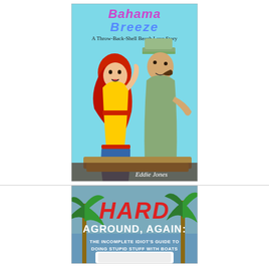[Figure (illustration): Book cover for 'Bahama Breeze: A Throw-Back-Shell Beach Love Story' by Eddie Jones. Retro comic-style illustration on cyan/light blue background showing a red-haired woman in yellow and red striped top with blue skirt and a man in a captain's hat smoking a pipe, both on a boat. Title 'Bahama Breeze' in purple/blue stylized text at top, subtitle below, author name at bottom right.]
[Figure (illustration): Book cover for 'Hard Aground, Again: The Incomplete Idiot's Guide to Doing Stupid Stuff with Boats'. Blue background with palm trees. 'HARD' in large red bold italic letters, 'AGROUND, AGAIN:' in white bold text, subtitle in smaller white bold text below.]